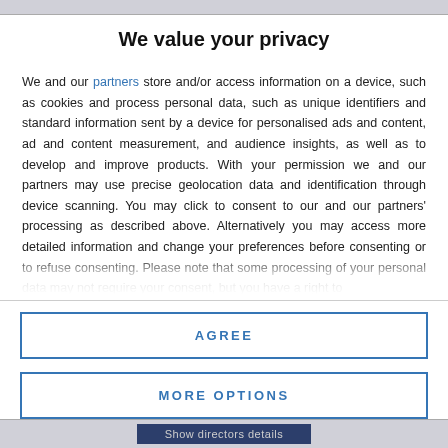We value your privacy
We and our partners store and/or access information on a device, such as cookies and process personal data, such as unique identifiers and standard information sent by a device for personalised ads and content, ad and content measurement, and audience insights, as well as to develop and improve products. With your permission we and our partners may use precise geolocation data and identification through device scanning. You may click to consent to our and our partners' processing as described above. Alternatively you may access more detailed information and change your preferences before consenting or to refuse consenting. Please note that some processing of your personal data may not require your consent, but you have a right to
AGREE
MORE OPTIONS
Show directors details